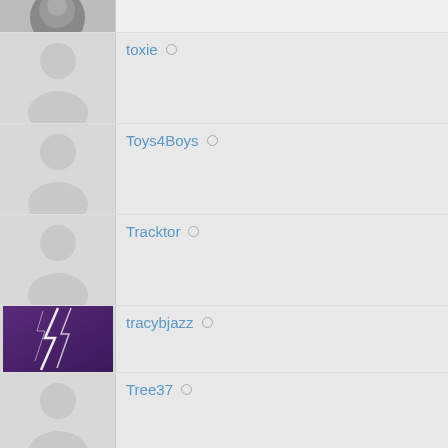toxie ○
Toys4Boys ○
Tracktor ○
tracybjazz ○
Tree37 ○
tribblino ○
Tricky4u ○
(partial row)